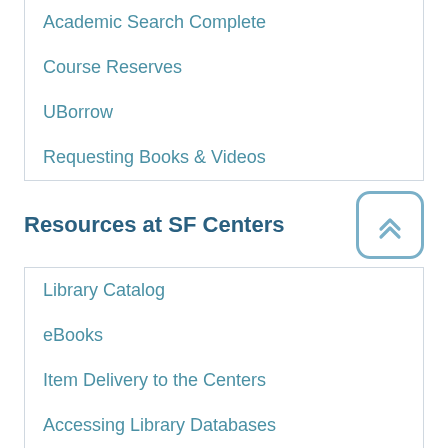Academic Search Complete
Course Reserves
UBorrow
Requesting Books & Videos
Resources at SF Centers
Library Catalog
eBooks
Item Delivery to the Centers
Accessing Library Databases
Credo Reference
Using Library Databases